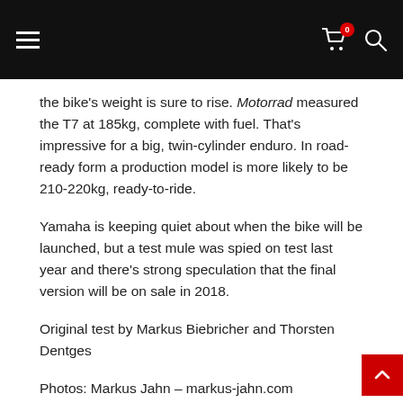Navigation bar with hamburger menu, cart icon (badge: 0), and search icon
the bike's weight is sure to rise. Motorrad measured the T7 at 185kg, complete with fuel. That's impressive for a big, twin-cylinder enduro. In road-ready form a production model is more likely to be 210-220kg, ready-to-ride.
Yamaha is keeping quiet about when the bike will be launched, but a test mule was spied on test last year and there's strong speculation that the final version will be on sale in 2018.
Original test by Markus Biebricher and Thorsten Dentges
Photos: Markus Jahn – markus-jahn.com
SLIDER